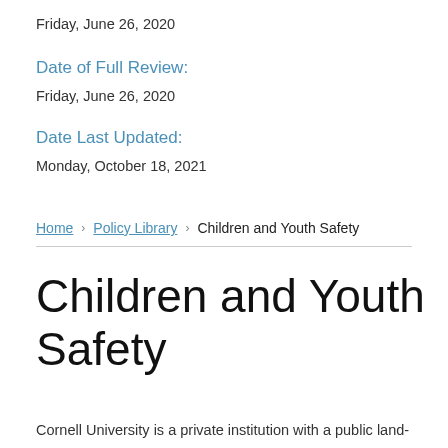Friday, June 26, 2020
Date of Full Review:
Friday, June 26, 2020
Date Last Updated:
Monday, October 18, 2021
Home › Policy Library › Children and Youth Safety
Children and Youth Safety
Cornell University is a private institution with a public land-